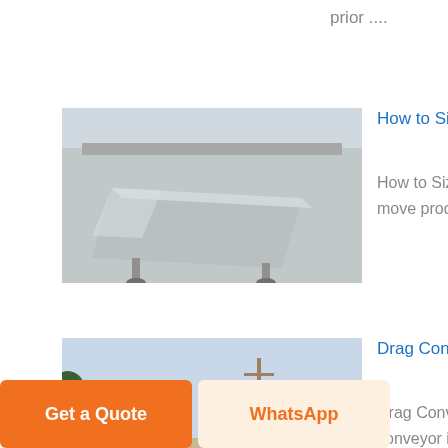prior ....
[Figure (photo): Metal conveyor/hopper structure in industrial warehouse setting]
How to Size and Select Roller Chain An Engineer's Guide
How to Size and Select Roller Chain , Conveyor chains come in myriad versions to move product horizontally, vertically or even around curved radii...
[Figure (photo): Street scene with vehicles and trees, industrial facility exterior]
Drag Conveyor Engineering Guide Horsepower Calculation
Drag Conveyor Engineering Guide Horsepower Calculation The KWS Dragon-Flite conveyor is an efficient, high performance alternative to conventional...
Get a Quote
WhatsApp